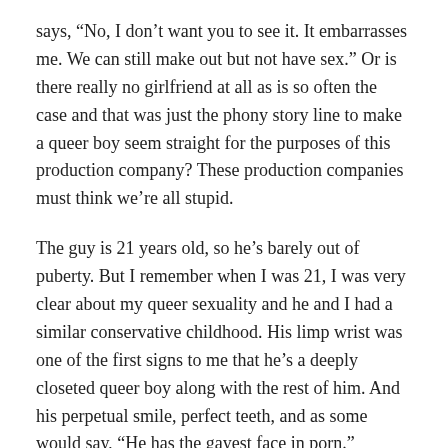says, “No, I don’t want you to see it. It embarrasses me. We can still make out but not have sex.” Or is there really no girlfriend at all as is so often the case and that was just the phony story line to make a queer boy seem straight for the purposes of this production company? These production companies must think we’re all stupid.
The guy is 21 years old, so he’s barely out of puberty. But I remember when I was 21, I was very clear about my queer sexuality and he and I had a similar conservative childhood. His limp wrist was one of the first signs to me that he’s a deeply closeted queer boy along with the rest of him. And his perpetual smile, perfect teeth, and as some would say, “He has the gayest face in porn.”